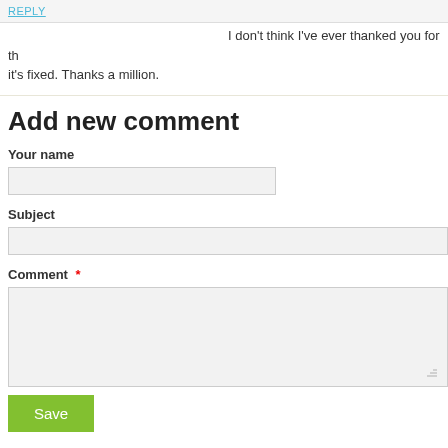REPLY
I don't think I've ever thanked you for th… it's fixed. Thanks a million.
Add new comment
Your name
Subject
Comment *
Save